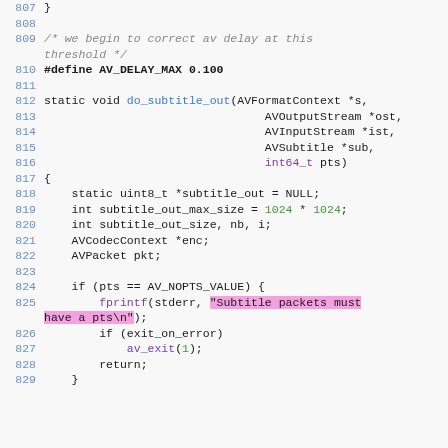[Figure (screenshot): Source code screenshot showing C code lines 807-829 with syntax highlighting, including a function do_subtitle_out and related preprocessor definitions and logic.]